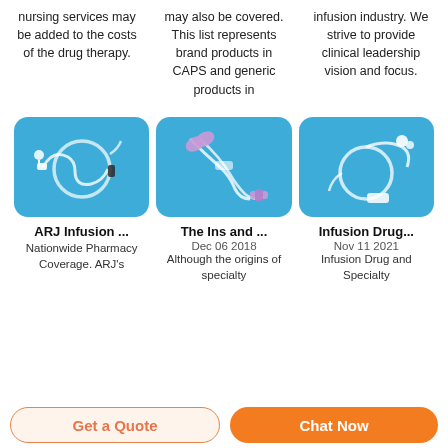nursing services may be added to the costs of the drug therapy.
may also be covered. This list represents brand products in CAPS and generic products in
infusion industry. We strive to provide clinical leadership vision and focus.
[Figure (photo): IV infusion tube/set on blue background]
[Figure (photo): IV infusion tube with purple connectors on blue background]
[Figure (photo): IV infusion tube/set on blue background]
ARJ Infusion ...
The Ins and ...
Infusion Drug...
Nationwide Pharmacy Coverage. ARJ's
Dec 06 2018
Although the origins of specialty
Nov 11 2021
Infusion Drug and Specialty